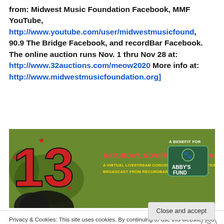from: Midwest Music Foundation Facebook, MMF YouTube, http://www.youtube.com/user/midwestmusicfound, 90.9 The Bridge Facebook, and recordBar Facebook. The online auction runs Nov. 1 thru Nov 28 at: http://www.32auctions.com/meow2020 More info at: http://www.midwestmusicfoundation.org]
[Figure (illustration): Event banner for MEOW2020 - a green distressed background with a large red number 13, showing event details: Saturday, November 7th 7:00 PM, A Virtual Livestream Concert and Online Auction, Broadcast from Recordbar, No Live Audience. A benefit for Abby's Fund.]
Privacy & Cookies: This site uses cookies. By continuing to use this website, you agree to their use.
To find out more, including how to control cookies, see here: Cookie Policy
Close and accept